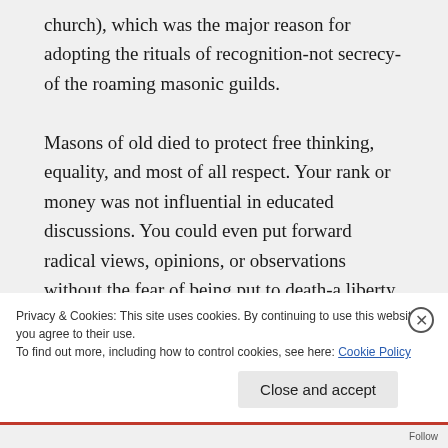church), which was the major reason for adopting the rituals of recognition-not secrecy-of the roaming masonic guilds.

Masons of old died to protect free thinking, equality, and most of all respect. Your rank or money was not influential in educated discussions. You could even put forward radical views, opinions, or observations without the fear of being put to death-a liberty our near-sighted brother here takes
Privacy & Cookies: This site uses cookies. By continuing to use this website, you agree to their use.
To find out more, including how to control cookies, see here: Cookie Policy
Close and accept